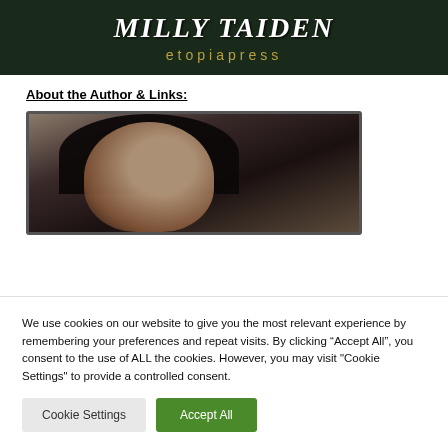[Figure (illustration): Book cover banner showing author name MILLY TAIDEN in large white italic serif font and publisher name etopiapress in gold/olive colored letters, on a dark green/black background suggesting a road or path scene.]
About the Author & Links:
[Figure (photo): Author photo showing a person with dark black hair, partial face visible, framed with a dark border, against a muted background.]
We use cookies on our website to give you the most relevant experience by remembering your preferences and repeat visits. By clicking “Accept All”, you consent to the use of ALL the cookies. However, you may visit "Cookie Settings" to provide a controlled consent.